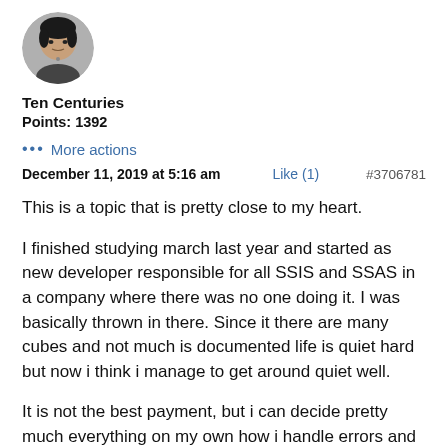[Figure (photo): Circular avatar photo of a person]
Ten Centuries
Points: 1392
... More actions
December 11, 2019 at 5:16 am    Like (1)    #3706781
This is a topic that is pretty close to my heart.
I finished studying march last year and started as new developer responsible for all SSIS and SSAS in a company where there was no one doing it. I was basically thrown in there. Since it there are many cubes and not much is documented life is quiet hard but now i think i manage to get around quiet well.
It is not the best payment, but i can decide pretty much everything on my own how i handle errors and projects.